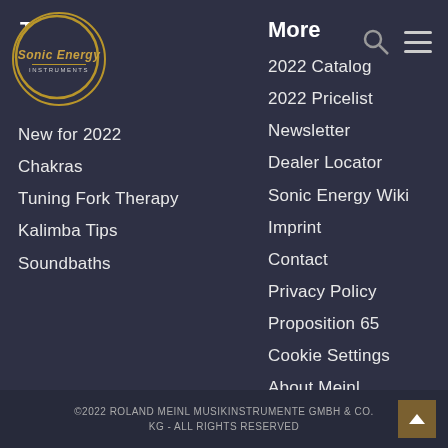[Figure (logo): Sonic Energy circular logo with gold border]
Topics
New for 2022
Chakras
Tuning Fork Therapy
Kalimba Tips
Soundbaths
More
2022 Catalog
2022 Pricelist
Newsletter
Dealer Locator
Sonic Energy Wiki
Imprint
Contact
Privacy Policy
Proposition 65
Cookie Settings
About Meinl
©2022 ROLAND MEINL MUSIKINSTRUMENTE GMBH & CO. KG - ALL RIGHTS RESERVED